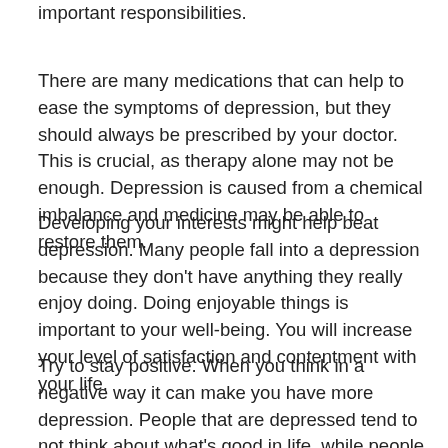important responsibilities.
There are many medications that can help to ease the symptoms of depression, but they should always be prescribed by your doctor. This is crucial, as therapy alone may not be enough. Depression is caused from a chemical imbalance and medicine may be able to restore them.
Developing your interests might help beat depression. Many people fall into a depression because they don't have anything they really enjoy doing. Doing enjoyable things is important to your well-being. You will increase your level of satisfaction and contentment with your life.
Try to stay positive. When you think in a negative way it can make you have more depression. People that are depressed tend to not think about what's good in life, while people that are happy accept their life as being normal and they fix things that go wrong. A positive mindset can make you more personable with others as well.